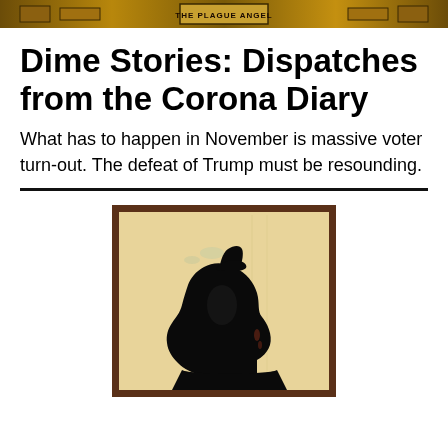THE PLAGUE ANGEL
Dime Stories: Dispatches from the Corona Diary
What has to happen in November is massive voter turn-out. The defeat of Trump must be resounding.
[Figure (illustration): Silhouette of a profile of a person's head and upper body facing left, wearing a small hat, on an aged yellowed background with a dark reddish-brown border frame.]